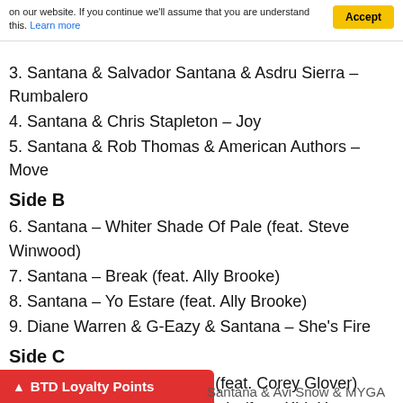on our website. If you continue we'll assume that you are understand this. Learn more
3. Santana & Salvador Santana & Asdru Sierra – Rumbalero
4. Santana & Chris Stapleton – Joy
5. Santana & Rob Thomas & American Authors – Move
Side B
6. Santana – Whiter Shade Of Pale (feat. Steve Winwood)
7. Santana – Break (feat. Ally Brooke)
8. Santana – Yo Estare (feat. Ally Brooke)
9. Diane Warren & G-Eazy & Santana – She's Fire
Side C
10. Santana – Peace Power (feat. Corey Glover)
11. Santana – America For Sale (feat. Kirk Hammett &
BTD Loyalty Points
Santana & Avi Snow & MYGA